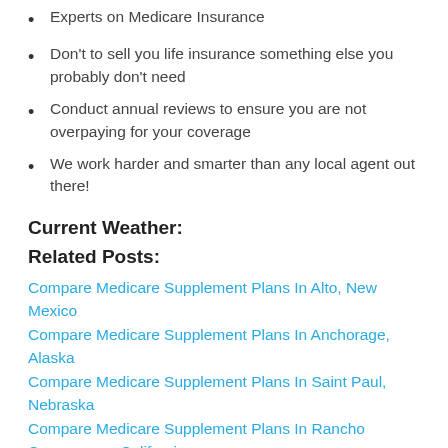Experts on Medicare Insurance
Don't to sell you life insurance something else you probably don't need
Conduct annual reviews to ensure you are not overpaying for your coverage
We work harder and smarter than any local agent out there!
Current Weather:
Related Posts:
Compare Medicare Supplement Plans In Alto, New Mexico
Compare Medicare Supplement Plans In Anchorage, Alaska
Compare Medicare Supplement Plans In Saint Paul, Nebraska
Compare Medicare Supplement Plans In Rancho Cucamonga, California